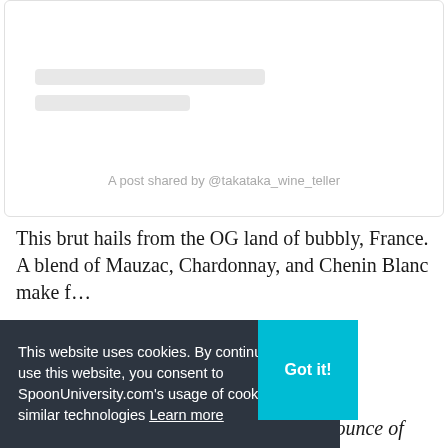[Figure (screenshot): Instagram embed card with skeleton loading lines and attribution text 'A post shared by @takataka_wine_teller']
A post shared by @takataka_wine_teller
This brut hails from the OG land of bubbly, France. A blend of Mauzac, Chardonnay, and Chenin Blanc make f…
…sip to spark …vençal French …diterranean
#SpoonTip: Jazz up this classic with an ounce of gin,
This website uses cookies. By continuing to use this website, you consent to SpoonUniversity.com's usage of cookies and similar technologies Learn more
Got it!